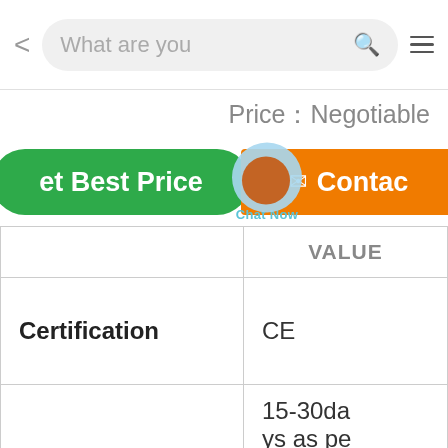< What are you [search] ≡
Price：Negotiable
et Best Price  Contact
|  | VALUE |
| --- | --- |
| Certification | CE |
|  | 15-30days as pe |